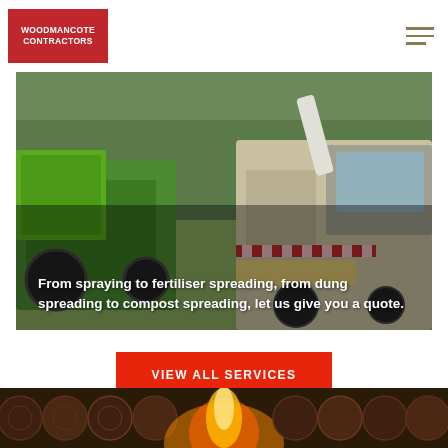[Figure (logo): Woodmancote Contractors logo — red rectangle with white bold text]
[Figure (photo): Agricultural machinery — green tractor with trailer and large combine harvester working in a grain field]
From spraying to fertiliser spreading, from dung spreading to compost spreading, let us give you a quote.
VIEW ALL SERVICES
[Figure (photo): Close-up of wood logs with flames — firewood and fire background image strip]